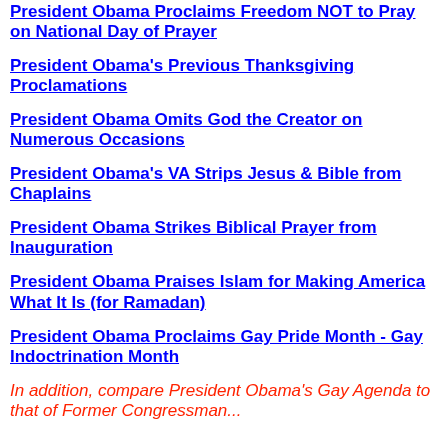President Obama Proclaims Freedom NOT to Pray on National Day of Prayer
President Obama's Previous Thanksgiving Proclamations
President Obama Omits God the Creator on Numerous Occasions
President Obama's VA Strips Jesus & Bible from Chaplains
President Obama Strikes Biblical Prayer from Inauguration
President Obama Praises Islam for Making America What It Is (for Ramadan)
President Obama Proclaims Gay Pride Month - Gay Indoctrination Month
In addition, compare President Obama's Gay Agenda to that of Former Congressman...